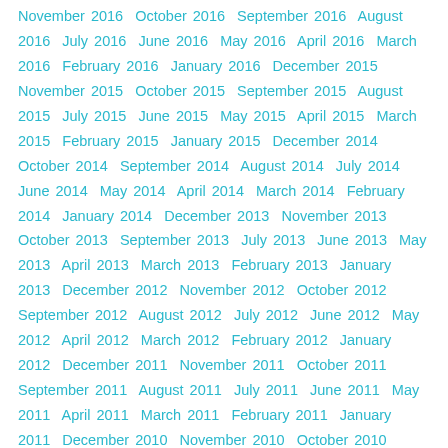November 2016   October 2016   September 2016   August 2016   July 2016   June 2016   May 2016   April 2016   March 2016   February 2016   January 2016   December 2015   November 2015   October 2015   September 2015   August 2015   July 2015   June 2015   May 2015   April 2015   March 2015   February 2015   January 2015   December 2014   October 2014   September 2014   August 2014   July 2014   June 2014   May 2014   April 2014   March 2014   February 2014   January 2014   December 2013   November 2013   October 2013   September 2013   July 2013   June 2013   May 2013   April 2013   March 2013   February 2013   January 2013   December 2012   November 2012   October 2012   September 2012   August 2012   July 2012   June 2012   May 2012   April 2012   March 2012   February 2012   January 2012   December 2011   November 2011   October 2011   September 2011   August 2011   July 2011   June 2011   May 2011   April 2011   March 2011   February 2011   January 2011   December 2010   November 2010   October 2010   September 2010